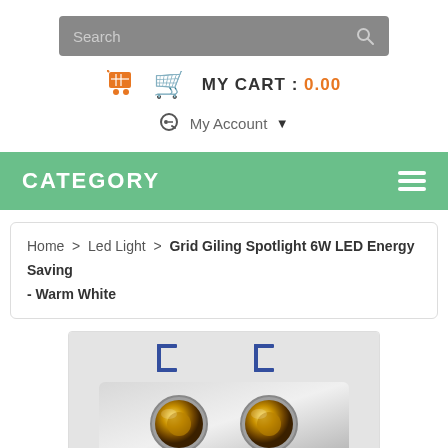[Figure (screenshot): Search bar with gray background and search icon]
MY CART : 0.00
My Account ▼
CATEGORY
Home > Led Light > Grid Giling Spotlight 6W LED Energy Saving - Warm White
[Figure (photo): Product photo of Grid Giling Spotlight 6W LED double spotlight fixture, warm white, metallic silver finish with two circular LED lenses]